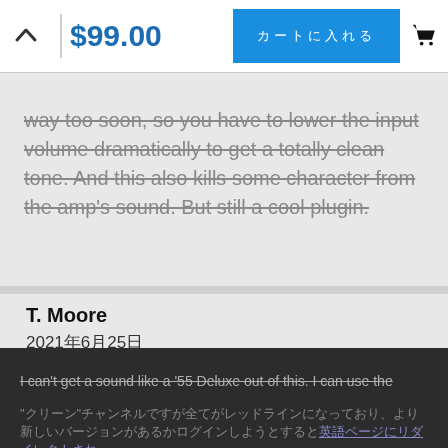$99.00
way too soon, so you have to lower the input volume dramatically to get a totally clean tone. And this also kills some character from the amp's sound. But still a cool plugin.
T. Moore
2021年6月25日
[Figure (other): 2 out of 5 stars rating]
Say What? I hope it is just me...
I can't get a sound like a '55 Deluxe out of this. I can use the "clean" channel but everything is redlined and when I try to log in to see if there is a newer version, I'm redirected to an English page and can't find the Japanese page I need. Wish I hadn't spent the money. My guitar effects sound better.
ログイン